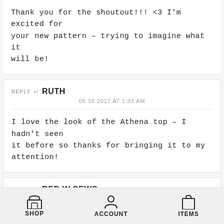Thank you for the shoutout!!! <3 I'm excited for your new pattern – trying to imagine what it will be!
REPLY | RUTH
05.18.2017 AT 1:33 AM
I love the look of the Athena top – I hadn't seen it before so thanks for bringing it to my attention!
REPLY | RED W SEWS
08.30.2017 AT 10:24 PM
Just seen that you featured my Hoya blouse;
SHOP  ACCOUNT  ITEMS